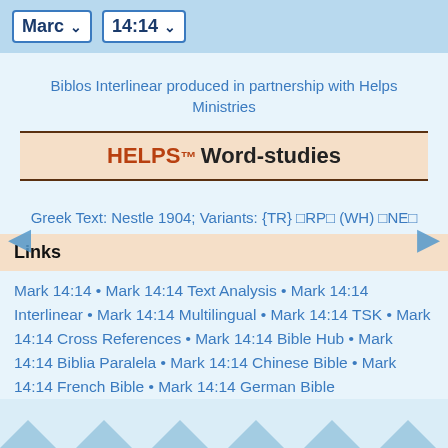Marc   14:14
Biblos Interlinear produced in partnership with Helps Ministries
[Figure (logo): HELPS™ Word-studies banner with brown border on peach background]
Greek Text: Nestle 1904; Variants: {TR} ⬜RP⬜ (WH) ⬜NE⬜
Links
Mark 14:14 • Mark 14:14 Text Analysis • Mark 14:14 Interlinear • Mark 14:14 Multilingual • Mark 14:14 TSK • Mark 14:14 Cross References • Mark 14:14 Bible Hub • Mark 14:14 Biblia Paralela • Mark 14:14 Chinese Bible • Mark 14:14 French Bible • Mark 14:14 German Bible